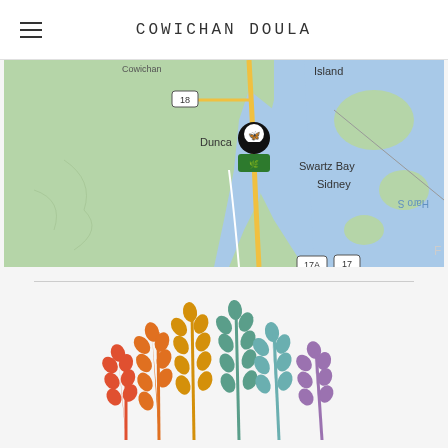COWICHAN DOULA
[Figure (map): Google Maps screenshot showing the Duncan, BC area on Vancouver Island, with a location pin marker near Duncan. Shows Swartz Bay, Sidney, route 18, route 17A, route 17, and Haro Strait visible.]
[Figure (illustration): Colorful botanical illustration of stylized plant stems with leaf clusters in a rainbow gradient from red/orange on the left through orange, amber, teal, and purple on the right, arranged in a bouquet-like fan shape.]